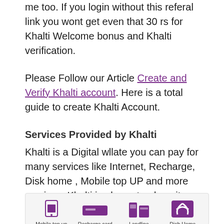me too. If you login without this referal link you wont get even that 30 rs for Khalti Welcome bonus and Khalti verification.
Please Follow our Article Create and Verify Khalti account. Here is a total guide to create Khalti Account.
Services Provided by Khalti
Khalti is a Digital wllate you can pay for many services like Internet, Recharge, Disk home , Mobile top UP and more services. Khalti is also extendong its services.
[Figure (infographic): Khalti services icons: Mobile top up, Recharge card, Landline, Dish Home]